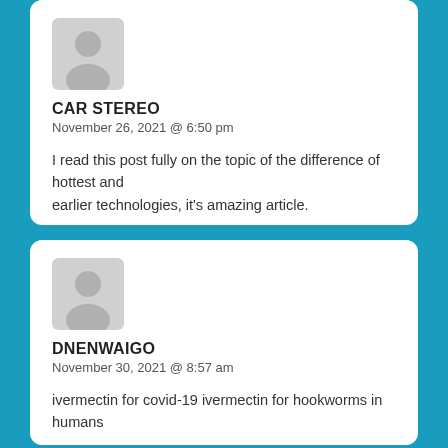[Figure (illustration): Generic user avatar silhouette icon, gray color on light gray background, for comment by CAR STEREO]
CAR STEREO
November 26, 2021 @ 6:50 pm
I read this post fully on the topic of the difference of hottest and earlier technologies, it's amazing article.
[Figure (illustration): Generic user avatar silhouette icon, gray color on light gray background, for comment by DNENWAIGO]
DNENWAIGO
November 30, 2021 @ 8:57 am
ivermectin for covid-19 ivermectin for hookworms in humans